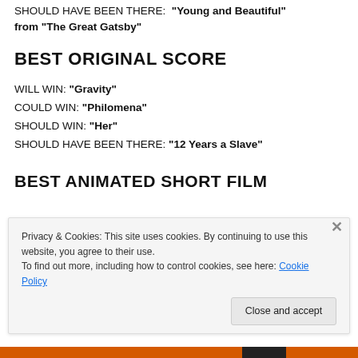SHOULD HAVE BEEN THERE: "Young and Beautiful" from "The Great Gatsby"
BEST ORIGINAL SCORE
WILL WIN: "Gravity"
COULD WIN: "Philomena"
SHOULD WIN: "Her"
SHOULD HAVE BEEN THERE: "12 Years a Slave"
BEST ANIMATED SHORT FILM
Privacy & Cookies: This site uses cookies. By continuing to use this website, you agree to their use.
To find out more, including how to control cookies, see here: Cookie Policy